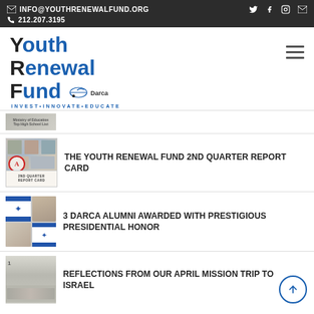INFO@YOUTHRENEWALFUND.ORG  212.207.3195
[Figure (logo): Youth Renewal Fund logo with Darca branding and tagline INVEST·INNOVATE·EDUCATE]
[Figure (photo): Partial image at top - Ministry of Education Top High School list]
[Figure (photo): Report card themed collage with photos and A grade]
THE YOUTH RENEWAL FUND 2ND QUARTER REPORT CARD
[Figure (photo): Collage of Darca alumni faces with Israeli flags]
3 DARCA ALUMNI AWARDED WITH PRESTIGIOUS PRESIDENTIAL HONOR
[Figure (photo): Group photo from April mission trip to Israel]
REFLECTIONS FROM OUR APRIL MISSION TRIP TO ISRAEL